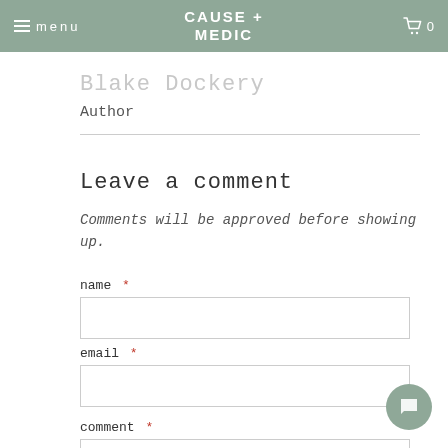menu | CAUSE + MEDIC | 0
Blake Dockery
Author
Leave a comment
Comments will be approved before showing up.
name *
email *
comment *